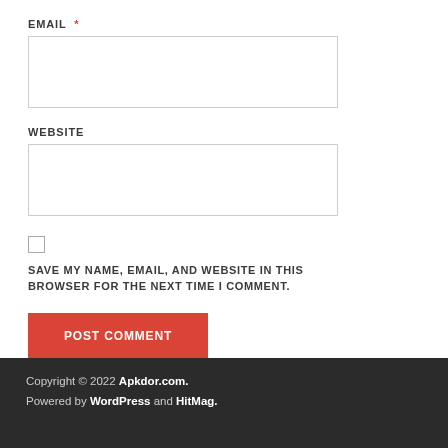EMAIL *
WEBSITE
SAVE MY NAME, EMAIL, AND WEBSITE IN THIS BROWSER FOR THE NEXT TIME I COMMENT.
POST COMMENT
Copyright © 2022 Apkdor.com.
Powered by WordPress and HitMag.